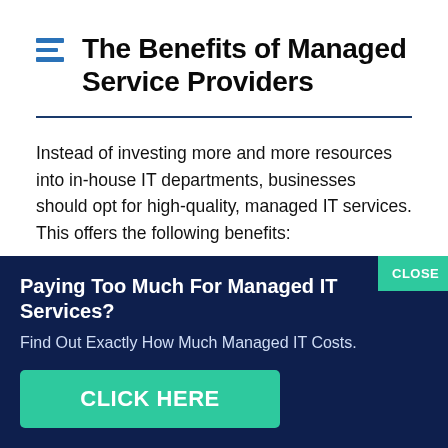The Benefits of Managed Service Providers
Instead of investing more and more resources into in-house IT departments, businesses should opt for high-quality, managed IT services. This offers the following benefits:
Paying Too Much For Managed IT Services?
Find Out Exactly How Much Managed IT Costs.
CLICK HERE